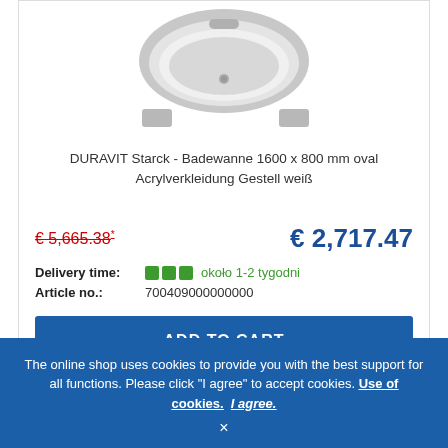[Figure (photo): DURAVIT Starck bathtub product photo, oval bathtub in white/grey, top-down angle]
DURAVIT Starck - Badewanne 1600 x 800 mm oval Acrylverkleidung Gestell weiß
€ 5,665.38* € 2,717.47
Delivery time: ■■■ około 1-2 tygodni
Article no.: 700409000000000
ADD TO CART
The online shop uses cookies to provide you with the best support for all functions. Please click "I agree" to accept cookies. Use of cookies.  I agree.  ×